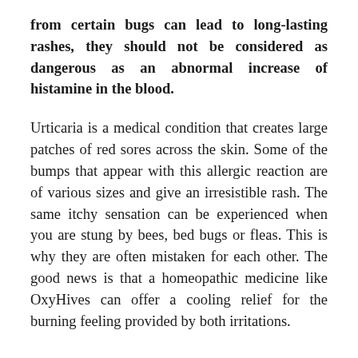from certain bugs can lead to long-lasting rashes, they should not be considered as dangerous as an abnormal increase of histamine in the blood.
Urticaria is a medical condition that creates large patches of red sores across the skin. Some of the bumps that appear with this allergic reaction are of various sizes and give an irresistible rash. The same itchy sensation can be experienced when you are stung by bees, bed bugs or fleas. This is why they are often mistaken for each other. The good news is that a homeopathic medicine like OxyHives can offer a cooling relief for the burning feeling provided by both irritations.